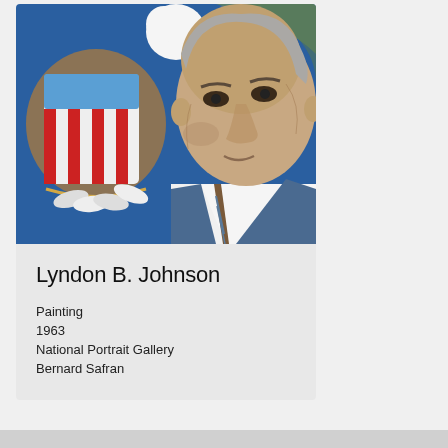[Figure (illustration): Painted portrait of Lyndon B. Johnson in a blue suit with white shirt and striped tie. Behind him is the US Presidential seal showing an eagle and shield with red and white stripes. Background is blue. Artist: Bernard Safran, 1963.]
Lyndon B. Johnson
Painting
1963
National Portrait Gallery
Bernard Safran